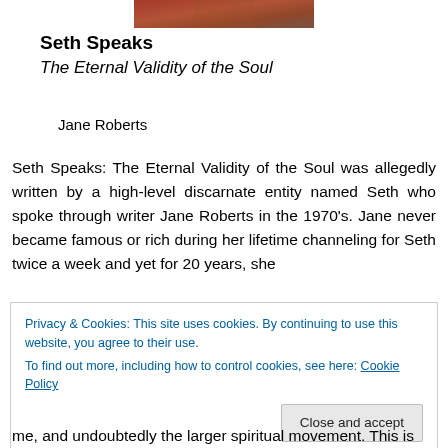[Figure (photo): Book cover image for Seth Speaks, reddish-brown tones, partially visible at top of page]
Seth Speaks
The Eternal Validity of the Soul
Jane Roberts
Seth Speaks: The Eternal Validity of the Soul was allegedly written by a high-level discarnate entity named Seth who spoke through writer Jane Roberts in the 1970's. Jane never became famous or rich during her lifetime channeling for Seth twice a week and yet for 20 years, she
Privacy & Cookies: This site uses cookies. By continuing to use this website, you agree to their use.
To find out more, including how to control cookies, see here: Cookie Policy
Close and accept
me, and undoubtedly the larger spiritual movement. This is